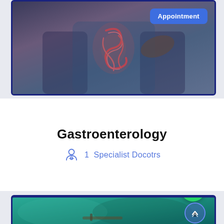[Figure (photo): Person in blue shirt holding their abdomen with a glowing red intestine/stomach illustration overlay. A blue 'Appointment' button is in the top right corner of the image.]
Gastroenterology
1  Specialist Docotrs
[Figure (photo): Medical professionals in teal/green scrubs performing or assisting with a procedure, with a WhatsApp chat button and scroll-up button overlaid.]